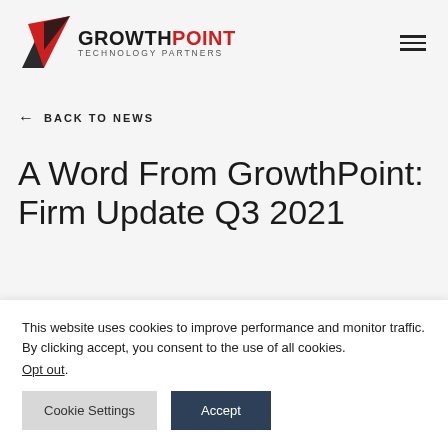[Figure (logo): GrowthPoint Technology Partners logo with red and black arrow/triangle icon and text]
← BACK TO NEWS
A Word From GrowthPoint: Firm Update Q3 2021
This website uses cookies to improve performance and monitor traffic. By clicking accept, you consent to the use of all cookies.
Opt out.
Cookie Settings   Accept